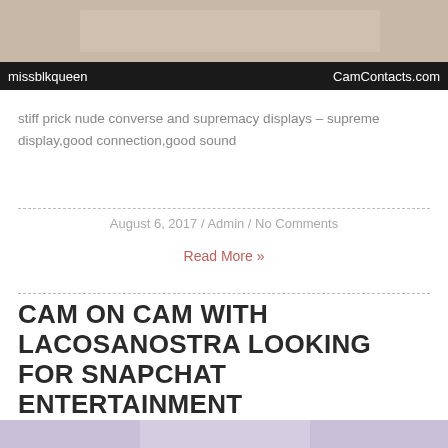[Figure (photo): Top portion of a camsite screenshot with a dark banner bar at the bottom showing 'missblkqueen' on the left and 'CamContacts.com' on the right]
stiff prick nude converse and supremacy displays – supreme display,good connection,good sound
August 6, 2017 / Admin / No Comments
Read More »
CAM ON CAM WITH LACOSANOSTRA LOOKING FOR SNAPCHAT ENTERTAINMENT
[Figure (photo): Partial image of a person from behind in a purple/pink lit room]